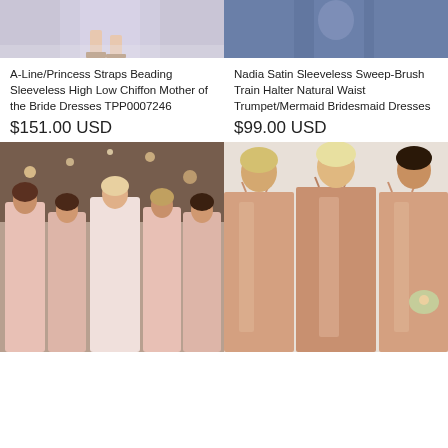[Figure (photo): Top portion of a model wearing a light lavender/lilac flowing dress, cropped at waist showing legs in sandals]
[Figure (photo): Top portion of a model wearing a dark navy/blue sleeveless halter dress, cropped showing upper body]
A-Line/Princess Straps Beading Sleeveless High Low Chiffon Mother of the Bride Dresses TPP0007246
$151.00 USD
Nadia Satin Sleeveless Sweep-Brush Train Halter Natural Waist Trumpet/Mermaid Bridesmaid Dresses
$99.00 USD
[Figure (photo): Group of bridesmaids and bride wearing blush/dusty rose wrap-style dresses outdoors at a warm-lit event venue]
[Figure (photo): Three women wearing satin slip-style bridesmaid dresses in a rose-gold/champagne color, standing indoors]